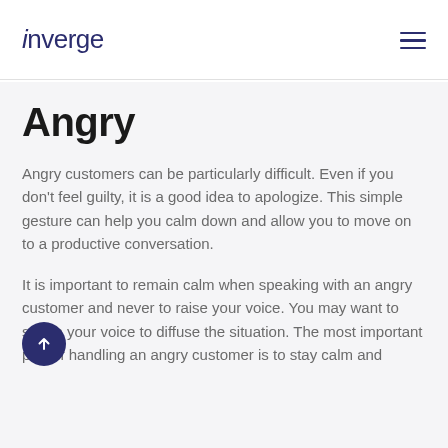inverge
Angry
Angry customers can be particularly difficult. Even if you don't feel guilty, it is a good idea to apologize. This simple gesture can help you calm down and allow you to move on to a productive conversation.
It is important to remain calm when speaking with an angry customer and never to raise your voice. You may want to soften your voice to diffuse the situation. The most important part of handling an angry customer is to stay calm and